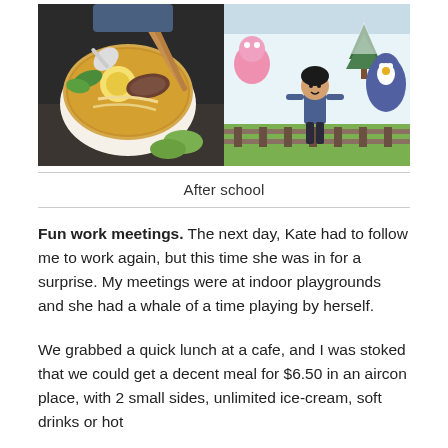[Figure (photo): Two photos side by side: left photo shows a person holding chopsticks over a bowl of ramen/noodle soup with egg, greens, and meat; right photo shows a young girl standing in front of a winter-themed display with cartoon penguin characters and Christmas trees.]
After school
Fun work meetings. The next day, Kate had to follow me to work again, but this time she was in for a surprise. My meetings were at indoor playgrounds and she had a whale of a time playing by herself.
We grabbed a quick lunch at a cafe, and I was stoked that we could get a decent meal for $6.50 in an aircon place, with 2 small sides, unlimited ice-cream, soft drinks or hot